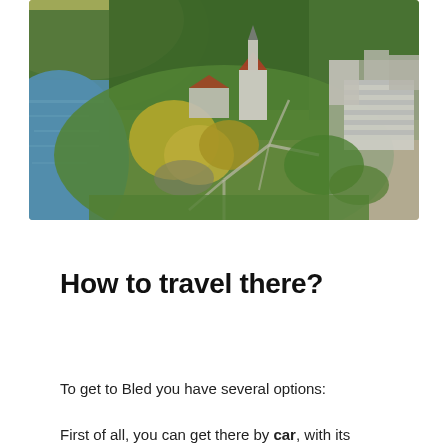[Figure (photo): Aerial drone photograph of Lake Bled area in Slovenia, showing a church with white walls and red roof surrounded by lush green trees, a blue lake on the left side, pathways through parks, and a town with buildings visible on the right side. Golden sunlight illuminates the scene from the upper left.]
How to travel there?
To get to Bled you have several options:
First of all, you can get there by car, with its